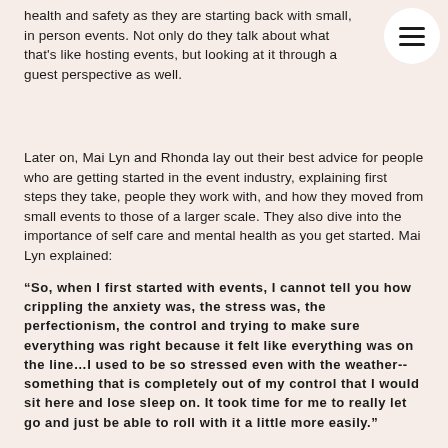health and safety as they are starting back with small, in person events. Not only do they talk about what that's like hosting events, but looking at it through a guest perspective as well.
Later on, Mai Lyn and Rhonda lay out their best advice for people who are getting started in the event industry, explaining first steps they take, people they work with, and how they moved from small events to those of a larger scale. They also dive into the importance of self care and mental health as you get started. Mai Lyn explained:
“So, when I first started with events, I cannot tell you how crippling the anxiety was, the stress was, the perfectionism, the control and trying to make sure everything was right because it felt like everything was on the line…I used to be so stressed even with the weather--something that is completely out of my control that I would sit here and lose sleep on. It took time for me to really let go and just be able to roll with it a little more easily.”